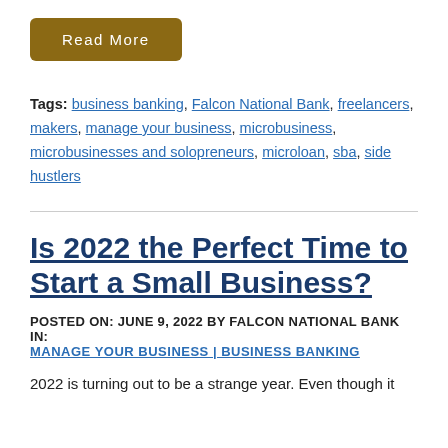Read More
Tags: business banking, Falcon National Bank, freelancers, makers, manage your business, microbusiness, microbusinesses and solopreneurs, microloan, sba, side hustlers
Is 2022 the Perfect Time to Start a Small Business?
POSTED ON: JUNE 9, 2022 BY FALCON NATIONAL BANK IN: MANAGE YOUR BUSINESS | BUSINESS BANKING
2022 is turning out to be a strange year. Even though it